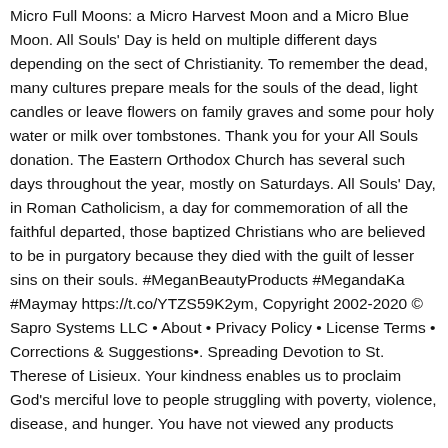Micro Full Moons: a Micro Harvest Moon and a Micro Blue Moon. All Souls' Day is held on multiple different days depending on the sect of Christianity. To remember the dead, many cultures prepare meals for the souls of the dead, light candles or leave flowers on family graves and some pour holy water or milk over tombstones. Thank you for your All Souls donation. The Eastern Orthodox Church has several such days throughout the year, mostly on Saturdays. All Souls' Day, in Roman Catholicism, a day for commemoration of all the faithful departed, those baptized Christians who are believed to be in purgatory because they died with the guilt of lesser sins on their souls. #MeganBeautyProducts #MegandaKa #Maymay https://t.co/YTZS59K2ym, Copyright 2002-2020 © Sapro Systems LLC • About • Privacy Policy • License Terms • Corrections & Suggestions•. Spreading Devotion to St. Therese of Lisieux. Your kindness enables us to proclaim God's merciful love to people struggling with poverty, violence, disease, and hunger. You have not viewed any products